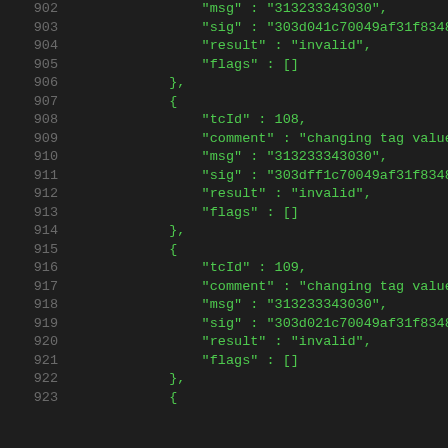902  "msg" : "313233343030",
903  "sig" : "303d041c70049af31f8348673d56
904  "result" : "invalid",
905  "flags" : []
906  },
907  {
908  "tcId" : 108,
909  "comment" : "changing tag value of in
910  "msg" : "313233343030",
911  "sig" : "303dfflc70049af31f8348673d56
912  "result" : "invalid",
913  "flags" : []
914  },
915  {
916  "tcId" : 109,
917  "comment" : "changing tag value of in
918  "msg" : "313233343030",
919  "sig" : "303d021c70049af31f8348673d56
920  "result" : "invalid",
921  "flags" : []
922  },
923  {